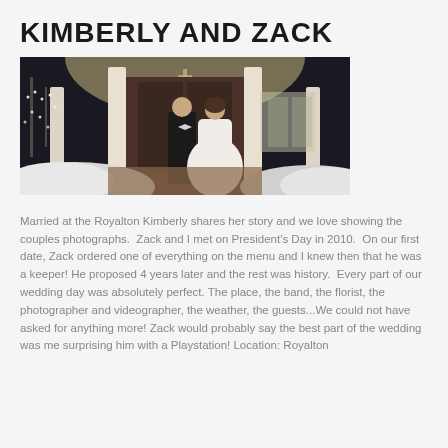KIMBERLY AND ZACK
[Figure (photo): Wedding photo of Kimberly and Zack standing in front of a columned entrance of the Royalton, with snow on the ground and string lights in trees. The groom is in a black tuxedo and the bride is in a white mermaid gown.]
Married at the Royalton Kimberly shares her story and we love showing the couples photographs.  Zack and I met on President's Day in 2010.  On our first date, Zack ordered one of everything on the menu and I knew then that he was a keeper! He proposed 4 years later and the rest was history.  Every part of our wedding day was absolutely perfect. The place, the band, the florist, the photographer and videographer, the weather, the guests...We could not have asked for anything more! Zack would probably say the best part of the wedding was me surprising him with a Playstation! Location: Royalton